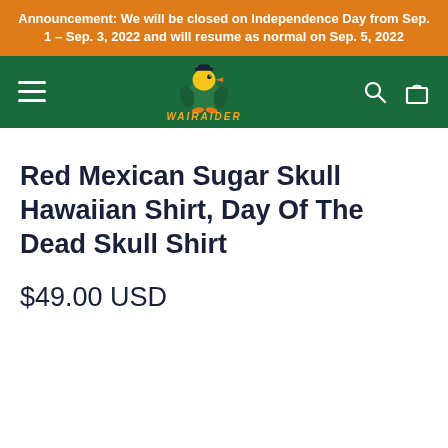Announcement: We will be closed on Independence Day from Sep. 1 - Sep. 3, 2022 and will resume as normal on Sep. 5, 2022
[Figure (logo): Wairaider brand logo with mascot character on dark green navigation bar with hamburger menu, search and cart icons]
Red Mexican Sugar Skull Hawaiian Shirt, Day Of The Dead Skull Shirt
$49.00 USD